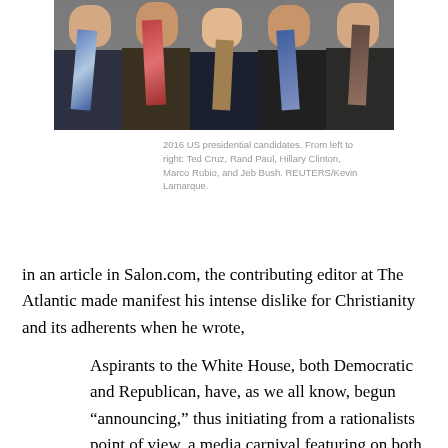[Figure (photo): Photo collage of 2016 US presidential candidates from left to right: Ted Cruz, Rand Paul, Hillary Clinton, Marco Rubio, and Jeb Bush. Photo credit: REUTERS/Kevin Lamarque.]
2016 US presidential candidates. From left to right: Ted Cruz, Rand Paul, Hillary Clinton, Marco Rubio, and Jeb Bush. REUTERS/Kevin Lamarque.
in an article in Salon.com, the contributing editor at The Atlantic made manifest his intense dislike for Christianity and its adherents when he wrote,
Aspirants to the White House, both Democratic and Republican, have, as we all know, begun “announcing,” thus initiating from a rationalists point of view, a media carnival featuring on both sides, an array of supposedly God-fearing clowns and faith-mongering nitwits groveling before Evangelicals and nattering on about